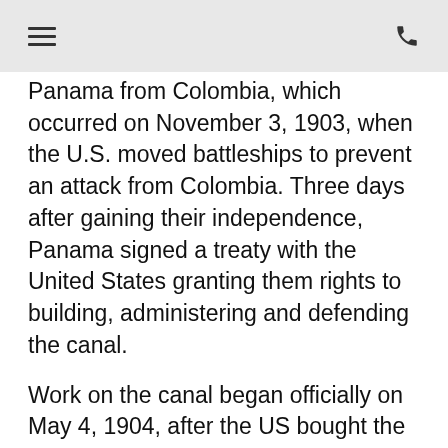≡  ✆
Panama from Colombia, which occurred on November 3, 1903, when the U.S. moved battleships to prevent an attack from Colombia. Three days after gaining their independence, Panama signed a treaty with the United States granting them rights to building, administering and defending the canal.
Work on the canal began officially on May 4, 1904, after the US bought the French equipment and paid Panama $10 million. The canal was completed in 1914 and its construction took advantage of modern equipment like electric shovels, cement mixers, dredges and railroads that helped quicken the work. The process was threatened by the inhospitable conditions of the Panamanian jungle — including malaria and yellow